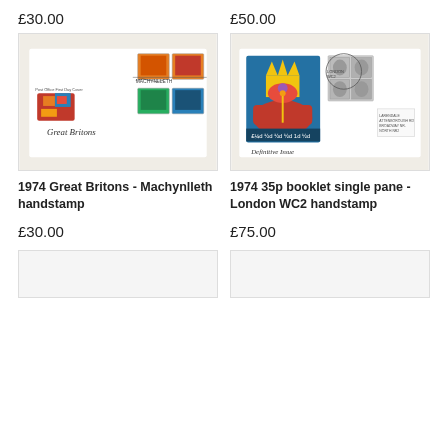£30.00
[Figure (photo): 1974 Great Britons First Day Cover with Machynlleth handstamp showing heraldic shields and medieval imagery stamps]
£50.00
[Figure (photo): 1974 35p booklet single pane First Day Cover with London WC2 handstamp showing crown and definitive issue stamps]
1974 Great Britons - Machynlleth handstamp
1974 35p booklet single pane - London WC2 handstamp
£30.00
£75.00